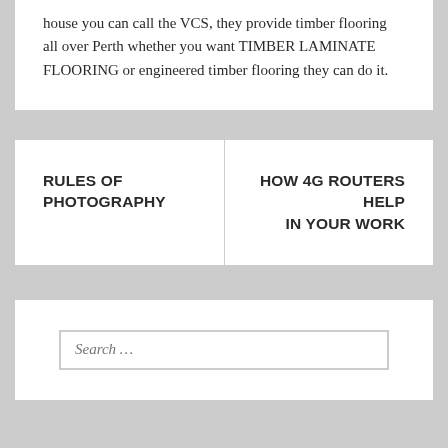house you can call the VCS, they provide timber flooring all over Perth whether you want TIMBER LAMINATE FLOORING or engineered timber flooring they can do it.
RULES OF PHOTOGRAPHY
HOW 4G ROUTERS HELP IN YOUR WORK
Search ...